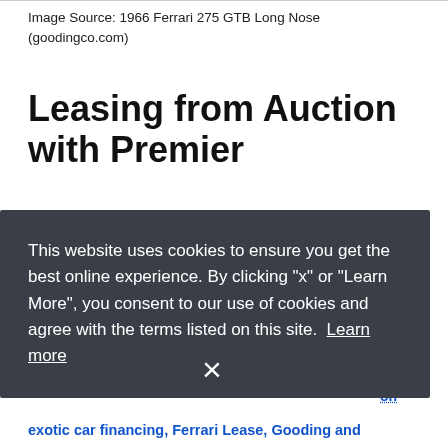Image Source: 1966 Ferrari 275 GTB Long Nose (goodingco.com)
Leasing from Auction with Premier
Premier Financial Services' Simple Lease can help [partial text visible behind overlay]
[Figure (screenshot): Cookie consent overlay with dark background (#3a3f47) containing text: 'This website uses cookies to ensure you get the best online experience. By clicking "x" or "Learn More", you consent to our use of cookies and agree with the terms listed on this site.' with a 'Learn more' underlined link and an × close button at the bottom center.]
exotic car financing, Ferrari Lease, Gooding and